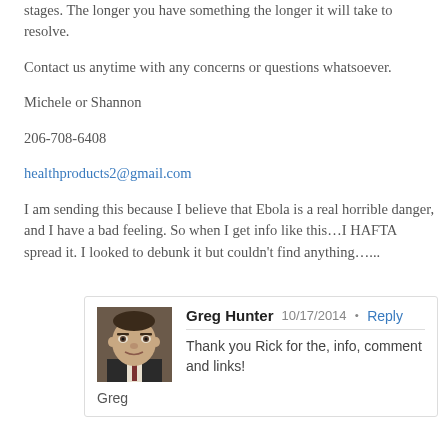stages. The longer you have something the longer it will take to resolve.
Contact us anytime with any concerns or questions whatsoever.
Michele or Shannon
206-708-6408
healthproducts2@gmail.com
I am sending this because I believe that Ebola is a real horrible danger, and I have a bad feeling. So when I get info like this…I HAFTA spread it. I looked to debunk it but couldn't find anything…...
Greg Hunter  10/17/2014 • Reply
Thank you Rick for the, info, comment and links!
Greg